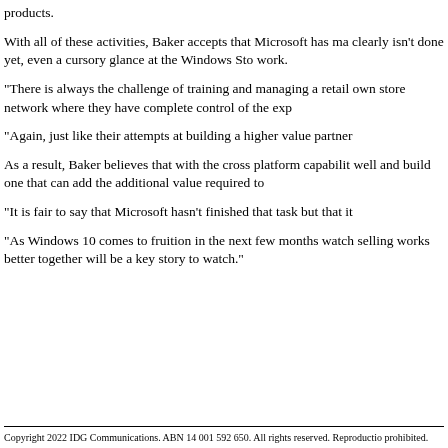products.
With all of these activities, Baker accepts that Microsoft has made clearly isn't done yet, even a cursory glance at the Windows Store work.
“There is always the challenge of training and managing a retail own store network where they have complete control of the exp
“Again, just like their attempts at building a higher value partner
As a result, Baker believes that with the cross platform capabilities well and build one that can add the additional value required to
“It is fair to say that Microsoft hasn’t finished that task but that it
“As Windows 10 comes to fruition in the next few months watch selling works better together will be a key story to watch.”
Copyright 2022 IDG Communications. ABN 14 001 592 650. All rights reserved. Reproduction prohibited.